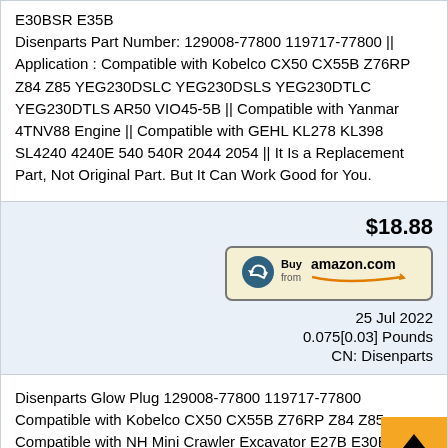E30BSR E35B Disenparts Part Number: 129008-77800 119717-77800 || Application : Compatible with Kobelco CX50 CX55B Z76RP Z84 Z85 YEG230DSLC YEG230DSLS YEG230DTLC YEG230DTLS AR50 VIO45-5B || Compatible with Yanmar 4TNV88 Engine || Compatible with GEHL KL278 KL398 SL4240 4240E 540 540R 2044 2054 || It Is a Replacement Part, Not Original Part. But It Can Work Good for You.
$18.88
[Figure (other): Buy from amazon.com button with Amazon logo and smile arrow icon]
25 Jul 2022
0.075[0.03] Pounds
CN: Disenparts
Disenparts Glow Plug 129008-77800 119717-77800 Compatible with Kobelco CX50 CX55B Z76RP Z84 Z85 Compatible with NH Mini Crawler Excavator E27B E30B